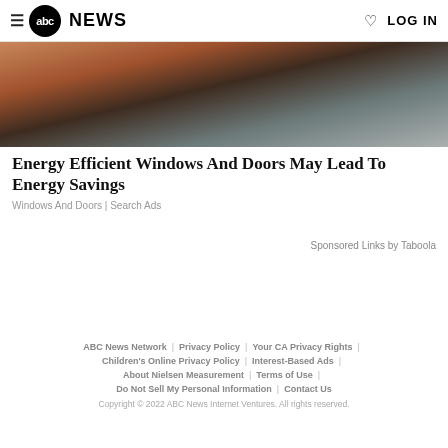abc NEWS | LOG IN
[Figure (photo): Person wearing a plaid/flannel shirt near windows or a door, partial view of upper body]
Energy Efficient Windows And Doors May Lead To Energy Savings
Windows And Doors | Search Ads
Sponsored Links by Taboola
ABC News Network | Privacy Policy | Your CA Privacy Rights | Children's Online Privacy Policy | Interest-Based Ads | About Nielsen Measurement | Terms of Use | Do Not Sell My Personal Information | Contact Us
Copyright © 2022 ABC News Internet Ventures. All rights reserved.